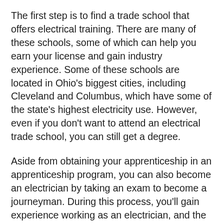The first step is to find a trade school that offers electrical training. There are many of these schools, some of which can help you earn your license and gain industry experience. Some of these schools are located in Ohio's biggest cities, including Cleveland and Columbus, which have some of the state's highest electricity use. However, even if you don't want to attend an electrical trade school, you can still get a degree.
Aside from obtaining your apprenticeship in an apprenticeship program, you can also become an electrician by taking an exam to become a journeyman. During this process, you'll gain experience working as an electrician, and the required training is different than the training you get on the job. To become a journeyman, you'll need at least three years of on-the-job training. You can take an apprenticeship through a local union or in a non-union program. While you're learning the trade, you'll also receive hands-on training through an examination from PSI. The tests are computer-based and administered at